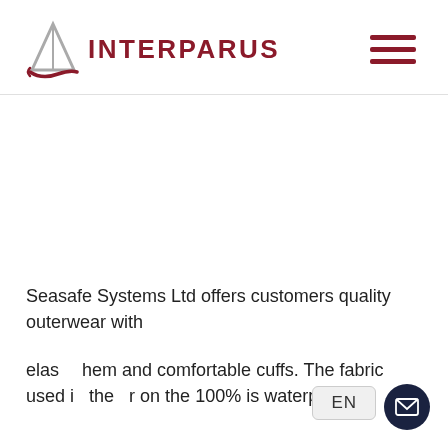[Figure (logo): Interparus logo: a triangular sail/boat icon in grey on the left, with the text INTERPARUS in dark red/maroon bold letters to the right]
[Figure (other): Hamburger menu icon — three horizontal dark red lines stacked vertically, indicating a navigation menu]
Seasafe Systems Ltd offers customers quality outerwear with
elas[...] hem and comfortable cuffs. The fabric used i[n] the[...] r on the 100% is waterproof.